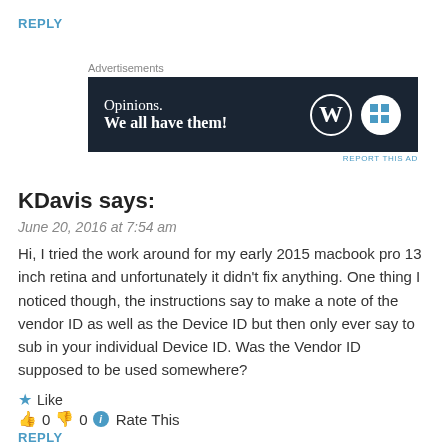REPLY
[Figure (other): Advertisement banner: dark background with 'Opinions. We all have them!' text and WordPress logo icons]
KDavis says:
June 20, 2016 at 7:54 am
Hi, I tried the work around for my early 2015 macbook pro 13 inch retina and unfortunately it didn't fix anything. One thing I noticed though, the instructions say to make a note of the vendor ID as well as the Device ID but then only ever say to sub in your individual Device ID. Was the Vendor ID supposed to be used somewhere?
★ Like
👍 0 👎 0 ℹ Rate This
REPLY